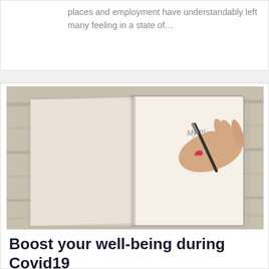places and employment have understandably left many feeling in a state of...
[Figure (photo): A hand writing 'My Plan' in an open notebook, placed on a wooden surface.]
Boost your well-being during Covid19
by Stefan Wathan